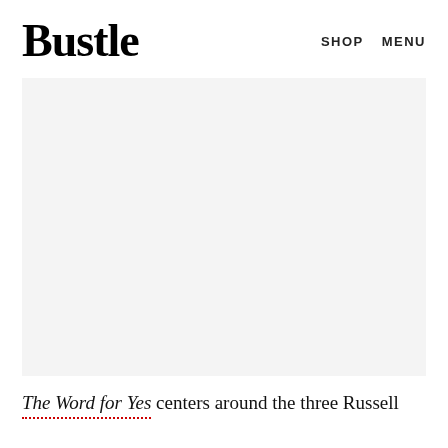Bustle    SHOP    MENU
[Figure (photo): Large image placeholder area with light gray background, no visible image content]
The Word for Yes centers around the three Russell